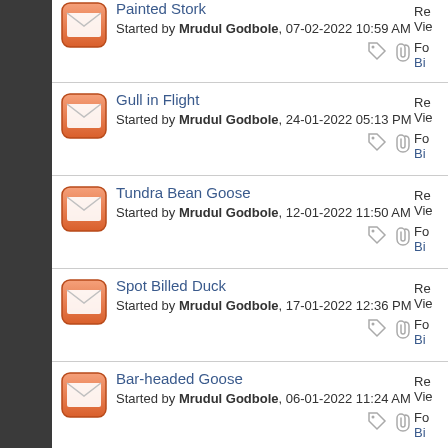Painted Stork - Started by Mrudul Godbole, 07-02-2022 10:59 AM
Gull in Flight - Started by Mrudul Godbole, 24-01-2022 05:13 PM
Tundra Bean Goose - Started by Mrudul Godbole, 12-01-2022 11:50 AM
Spot Billed Duck - Started by Mrudul Godbole, 17-01-2022 12:36 PM
Bar-headed Goose - Started by Mrudul Godbole, 06-01-2022 11:24 AM